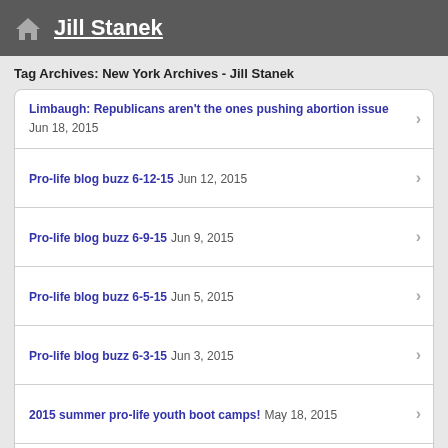Jill Stanek
Tag Archives: New York Archives - Jill Stanek
Limbaugh: Republicans aren't the ones pushing abortion issue Jun 18, 2015
Pro-life blog buzz 6-12-15 Jun 12, 2015
Pro-life blog buzz 6-9-15 Jun 9, 2015
Pro-life blog buzz 6-5-15 Jun 5, 2015
Pro-life blog buzz 6-3-15 Jun 3, 2015
2015 summer pro-life youth boot camps! May 18, 2015
Pro-life infographics on maternal mortality, sex trafficking Mar 14, 2015